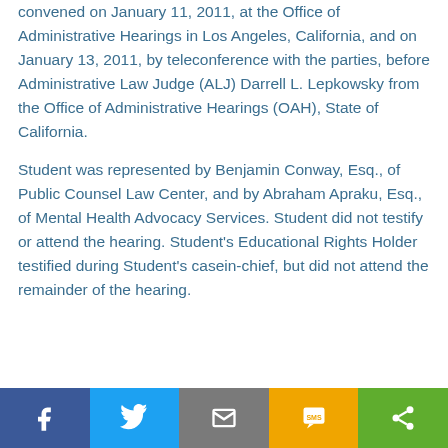convened on January 11, 2011, at the Office of Administrative Hearings in Los Angeles, California, and on January 13, 2011, by teleconference with the parties, before Administrative Law Judge (ALJ) Darrell L. Lepkowsky from the Office of Administrative Hearings (OAH), State of California.
Student was represented by Benjamin Conway, Esq., of Public Counsel Law Center, and by Abraham Apraku, Esq., of Mental Health Advocacy Services. Student did not testify or attend the hearing. Student's Educational Rights Holder testified during Student's casein-chief, but did not attend the remainder of the hearing.
Social share bar: Facebook, Twitter, Email, SMS, Share